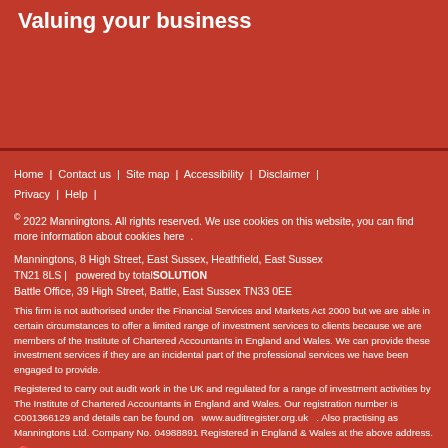Valuing your business
Home | Contact us | Site map | Accessibility | Disclaimer | Privacy | Help |
© 2022 Manningtons. All rights reserved. We use cookies on this website, you can find more information about cookies here .
Manningtons, 8 High Street, East Sussex, Heathfield, East Sussex TN21 8LS | powered by totalSOLUTION Battle Office, 39 High Street, Battle, East Sussex TN33 0EE
This firm is not authorised under the Financial Services and Markets Act 2000 but we are able in certain circumstances to offer a limited range of investment services to clients because we are members of the Institute of Chartered Accountants in England and Wales. We can provide these investment services if they are an incidental part of the professional services we have been engaged to provide.
Registered to carry out audit work in the UK and regulated for a range of investment activities by The Institute of Chartered Accountants in England and Wales. Our registration number is C001366129 and details can be found on www.auditregister.org.uk . Also practising as Manningtons Ltd. Company No. 04988891 Registered in England & Wales at the above address.